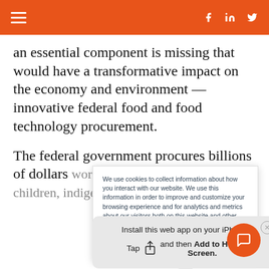Navigation bar with hamburger menu and social icons (Facebook, LinkedIn, Twitter)
an essential component is missing that would have a transformative impact on the economy and environment — innovative federal food and food technology procurement.
The federal government procures billions of dollars worth of food to food school children, indigenous
We use cookies to collect information about how you interact with our website. We use this information in order to improve and customize your browsing experience and for analytics and metrics about our visitors both on this website and other media. To find out more about the cookies we use, see our Privacy Policy.
If you decline, your information won't be tracked
Install this web app on your iPhone. Tap and then Add to Home Screen.